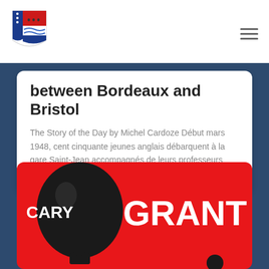between Bordeaux and Bristol
The Story of the Day by Michel Cardoze Début mars 1948, cent cinquante jeunes anglais débarquent à la gare Saint-Jean accompagnés de leurs professeurs Click here Read in: Français
[Figure (illustration): Red promotional card showing a black hot air balloon with 'CARY' text on it and 'GRANT' in white bold text to the right, on a bright red background, with a partial figure at the bottom right.]